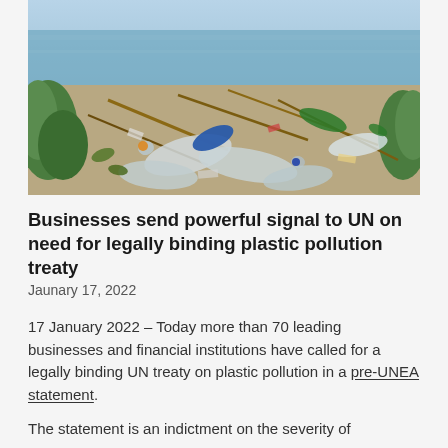[Figure (photo): A large pile of plastic waste and bottles scattered on a riverbank or shoreline, with water visible in the background and green vegetation on the sides.]
Businesses send powerful signal to UN on need for legally binding plastic pollution treaty
Jaunary 17, 2022
17 January 2022 – Today more than 70 leading businesses and financial institutions have called for a legally binding UN treaty on plastic pollution in a pre-UNEA statement.
The statement is an indictment on the severity of